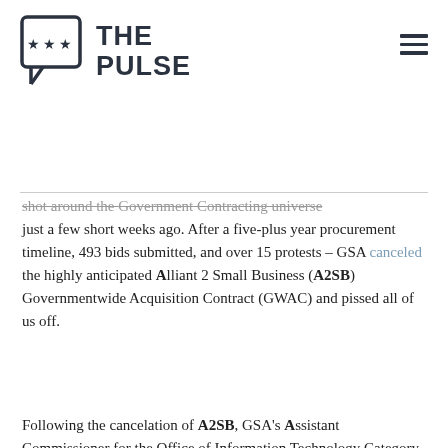[Figure (logo): The Pulse logo: a chat bubble with three stars and bold text reading THE PULSE]
shot around the Government Contracting universe just a few short weeks ago. After a five-plus year procurement timeline, 493 bids submitted, and over 15 protests – GSA canceled the highly anticipated Alliant 2 Small Business (A2SB) Governmentwide Acquisition Contract (GWAC) and pissed all of us off.
Following the cancelation of A2SB, GSA's Assistant Commissioner for the Office of Information Technology Category, Laura Stanton, released a blog post mentioning that they plan on conducting a wholesale reevaluation of their socio-economic vehicles. As with any large vehicle news, industry conducted its post-mortem – but a lot of the conversation focused on what GSA did wrong and